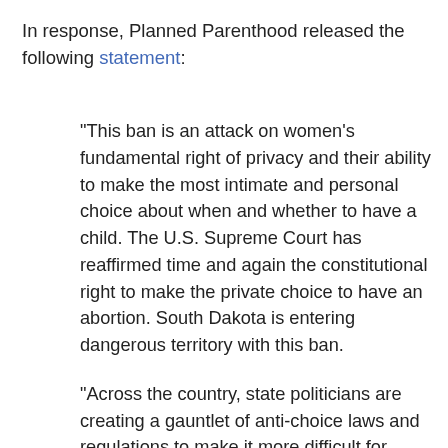In response, Planned Parenthood released the following statement:
"This ban is an attack on women's fundamental right of privacy and their ability to make the most intimate and personal choice about when and whether to have a child. The U.S. Supreme Court has reaffirmed time and again the constitutional right to make the private choice to have an abortion. South Dakota is entering dangerous territory with this ban.
"Across the country, state politicians are creating a gauntlet of anti-choice laws and regulations to make it more difficult for women to get the best and safest reproductive health care services. South Dakota's ban is the most sweeping abortion ban passed by any state in more than a decade. Planned Parenthood will go to court to ensure women, with their doctors and families,